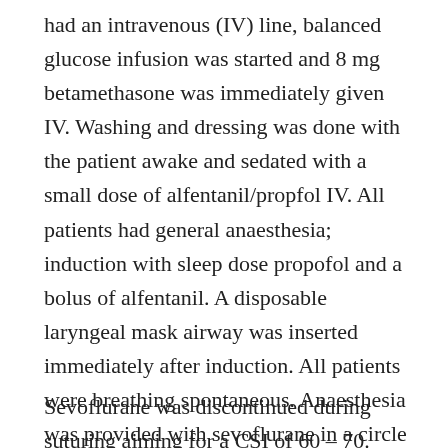had an intravenous (IV) line, balanced glucose infusion was started and 8 mg betamethasone was immediately given IV. Washing and dressing was done with the patient awake and sedated with a small dose of alfentanil/propfol IV. All patients had general anaesthesia; induction with sleep dose propofol and a bolus of alfentanil. A disposable laryngeal mask airway was inserted immediately after induction. All patients were breathing spontaneous. Anaesthesia was provided with sevoflurane in a circle system, depth of anaesthesia adjusted on clinical signs and aiming at a Cerebral State Index of 50 plus minus 5 during surgery (Cerebral State Monitor, Danmeter AS, Odense, Denmark).
Sevoflurane was discontinued during suturing aiming for a CSI of 60 – 70. Before suturing 8-